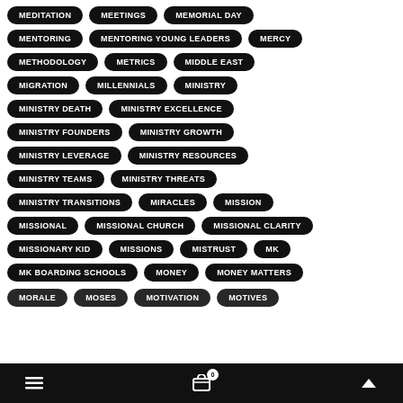MEDITATION
MEETINGS
MEMORIAL DAY
MENTORING
MENTORING YOUNG LEADERS
MERCY
METHODOLOGY
METRICS
MIDDLE EAST
MIGRATION
MILLENNIALS
MINISTRY
MINISTRY DEATH
MINISTRY EXCELLENCE
MINISTRY FOUNDERS
MINISTRY GROWTH
MINISTRY LEVERAGE
MINISTRY RESOURCES
MINISTRY TEAMS
MINISTRY THREATS
MINISTRY TRANSITIONS
MIRACLES
MISSION
MISSIONAL
MISSIONAL CHURCH
MISSIONAL CLARITY
MISSIONARY KID
MISSIONS
MISTRUST
MK
MK BOARDING SCHOOLS
MONEY
MONEY MATTERS
MORALE
MOSES
MOTIVATION
MOTIVES
≡  🛒 0  ∧